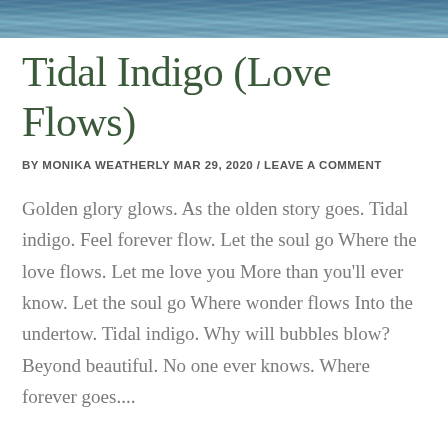[Figure (photo): Ocean water surface photograph showing tidal blue-gray waves]
Tidal Indigo (Love Flows)
BY MONIKA WEATHERLY MAR 29, 2020 / LEAVE A COMMENT
Golden glory glows. As the olden story goes. Tidal indigo. Feel forever flow. Let the soul go Where the love flows. Let me love you More than you'll ever know. Let the soul go Where wonder flows Into the undertow. Tidal indigo. Why will bubbles blow? Beyond beautiful. No one ever knows. Where forever goes....